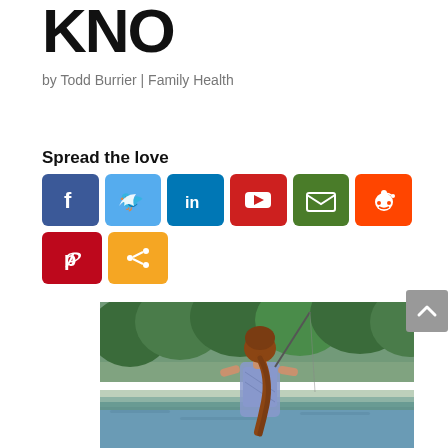KNO
by Todd Burrier | Family Health
Spread the love
[Figure (infographic): Social media sharing buttons: Facebook (blue), Twitter (light blue), LinkedIn (dark blue), YouTube (red), Email (green), Reddit (orange), Pinterest (red), Share (orange)]
[Figure (photo): A woman with a long ponytail seen from behind, fishing at a lake or river, surrounded by green trees, wearing a patterned sleeveless top.]